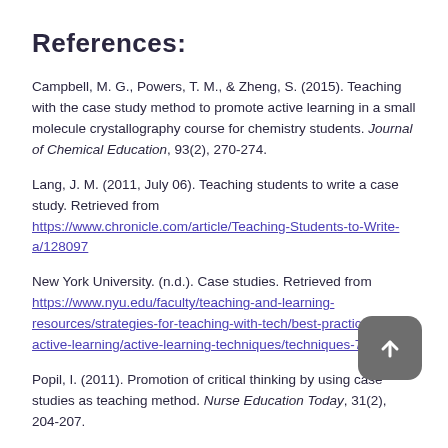References:
Campbell, M. G., Powers, T. M., & Zheng, S. (2015). Teaching with the case study method to promote active learning in a small molecule crystallography course for chemistry students. Journal of Chemical Education, 93(2), 270-274.
Lang, J. M. (2011, July 06). Teaching students to write a case study. Retrieved from https://www.chronicle.com/article/Teaching-Students-to-Write-a/128097
New York University. (n.d.). Case studies. Retrieved from https://www.nyu.edu/faculty/teaching-and-learning-resources/strategies-for-teaching-with-tech/best-practices-active-learning/active-learning-techniques/techniques-7.html
Popil, I. (2011). Promotion of critical thinking by using case studies as teaching method. Nurse Education Today, 31(2), 204-207.
Trujillo-Jenks, L. (2014, February 21). Guiding Students to Think